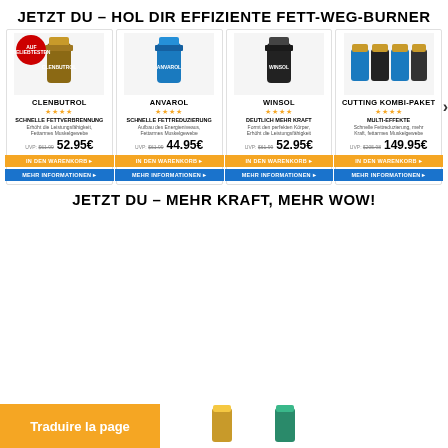JETZT DU – HOL DIR EFFIZIENTE FETT-WEG-BURNER
[Figure (photo): Product cards for Clenbutrol, Anvarol, Winsol, Cutting Kombi-Paket with prices and buttons]
JETZT DU – MEHR KRAFT, MEHR WOW!
[Figure (photo): Orange 'Traduire la page' button and product images at bottom]